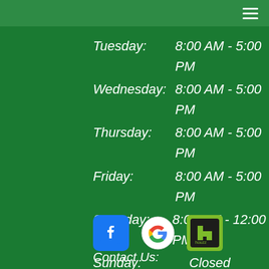Navigation menu (hamburger icon)
Tuesday:    8:00 AM - 5:00 PM
Wednesday: 8:00 AM - 5:00 PM
Thursday:   8:00 AM - 5:00 PM
Friday:      8:00 AM - 5:00 PM
Saturday:   8:00 AM - 12:00 PM
Sunday:     Closed
[Figure (logo): Facebook, Google, and Houzz social media icons]
Contact Us: